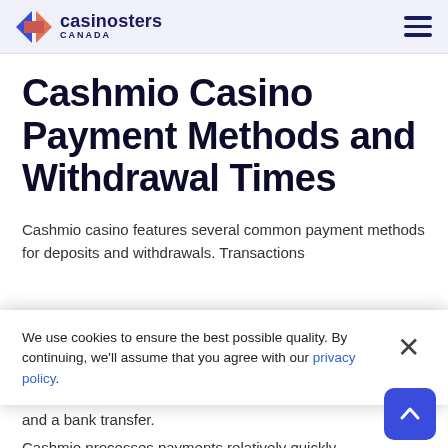casinosters CANADA
Cashmio Casino Payment Methods and Withdrawal Times
Cashmio casino features several common payment methods for deposits and withdrawals. Transactions
We use cookies to ensure the best possible quality. By continuing, we'll assume that you agree with our privacy policy.
and a bank transfer.
Cashmio processes payments relatively quickly,